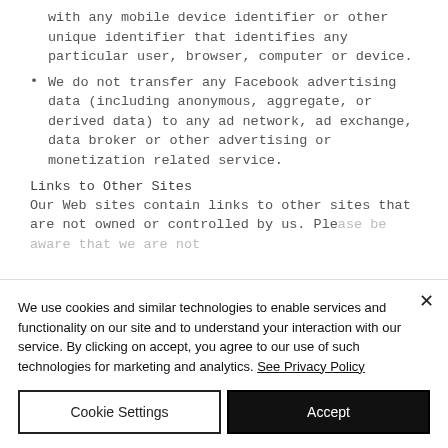with any mobile device identifier or other unique identifier that identifies any particular user, browser, computer or device.
We do not transfer any Facebook advertising data (including anonymous, aggregate, or derived data) to any ad network, ad exchange, data broker or other advertising or monetization related service.
Links to Other Sites
Our Web sites contain links to other sites that are not owned or controlled by us. Please be aware that we are not...
We use cookies and similar technologies to enable services and functionality on our site and to understand your interaction with our service. By clicking on accept, you agree to our use of such technologies for marketing and analytics. See Privacy Policy